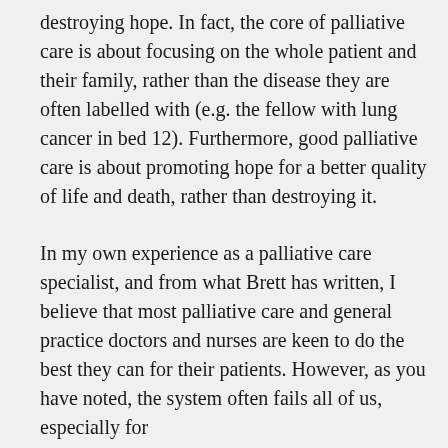destroying hope. In fact, the core of palliative care is about focusing on the whole patient and their family, rather than the disease they are often labelled with (e.g. the fellow with lung cancer in bed 12). Furthermore, good palliative care is about promoting hope for a better quality of life and death, rather than destroying it.
In my own experience as a palliative care specialist, and from what Brett has written, I believe that most palliative care and general practice doctors and nurses are keen to do the best they can for their patients. However, as you have noted, the system often fails all of us, especially for